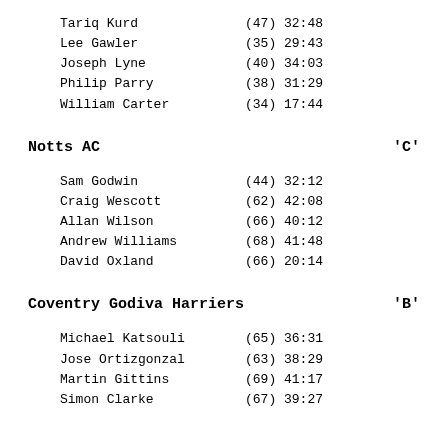Tariq Kurd         (47) 32:48
Lee Gawler         (35) 29:43
Joseph Lyne        (40) 34:03
Philip Parry       (38) 31:29
William Carter     (34) 17:44
Notts AC   'C'
Sam Godwin         (44) 32:12
Craig Wescott      (62) 42:08
Allan Wilson       (66) 40:12
Andrew Williams    (68) 41:48
David Oxland       (66) 20:14
Coventry Godiva Harriers   'B'
Michael Katsouli   (65) 36:31
Jose Ortizgonzal   (63) 38:29
Martin Gittins     (69) 41:17
Simon Clarke       (67) 39:27